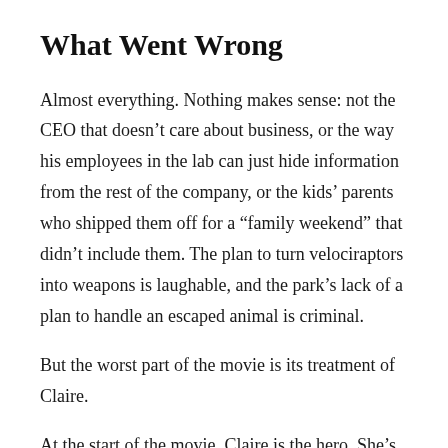What Went Wrong
Almost everything. Nothing makes sense: not the CEO that doesn’t care about business, or the way his employees in the lab can just hide information from the rest of the company, or the kids’ parents who shipped them off for a “family weekend” that didn’t include them. The plan to turn velociraptors into weapons is laughable, and the park’s lack of a plan to handle an escaped animal is criminal.
But the worst part of the movie is its treatment of Claire.
At the start of the movie, Claire is the hero. She’s a professional woman who doesn’t have time for children and is very good at her job and is the hero.